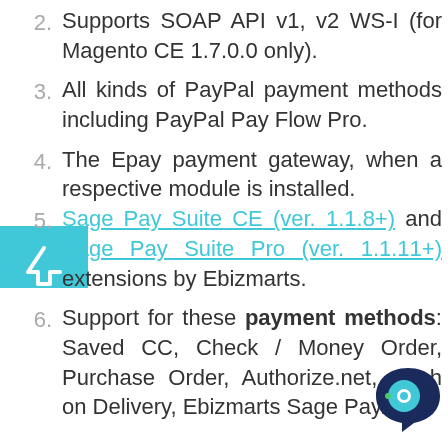2. Supports SOAP API v1, v2 WS-I (for Magento CE 1.7.0.0 only).
3. All kinds of PayPal payment methods including PayPal Pay Flow Pro.
4. The Epay payment gateway, when a respective module is installed.
5. Sage Pay Suite CE (ver. 1.1.8+) and Sage Pay Suite Pro (ver. 1.1.11+) extensions by Ebizmarts.
6. Support for these payment methods: Saved CC, Check / Money Order, Purchase Order, Authorize.net, Cash on Delivery, Ebizmarts Sage Pay.